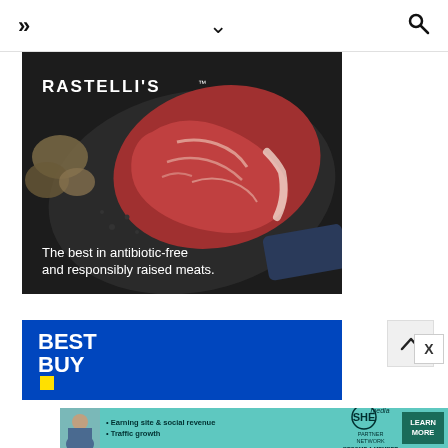>> v Search
[Figure (photo): Rastelli's advertisement showing a raw marbled steak on a dark cutting board with potatoes and text: 'The best in antibiotic-free and responsibly raised meats.']
[Figure (photo): Best Buy advertisement banner with blue background and Best Buy logo with yellow price tag icon]
[Figure (photo): SHE Media Partner Network advertisement bar with woman photo, bullet points about earning site & social revenue and traffic growth, SHE logo, and LEARN MORE button]